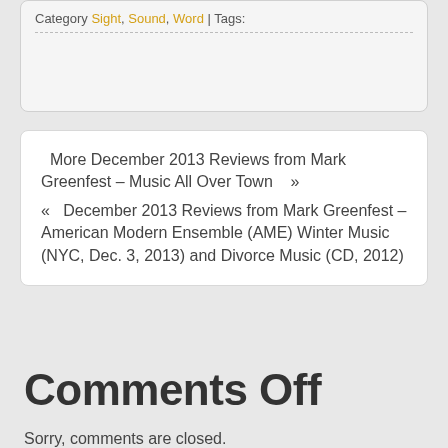Category Sight, Sound, Word | Tags:
More December 2013 Reviews from Mark Greenfest – Music All Over Town   »
«   December 2013 Reviews from Mark Greenfest – American Modern Ensemble (AME) Winter Music (NYC, Dec. 3, 2013) and Divorce Music (CD, 2012)
Comments Off
Sorry, comments are closed.